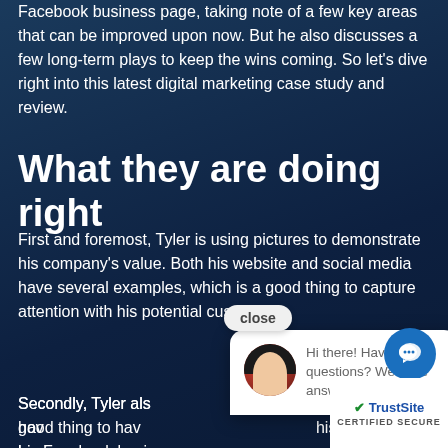Facebook business page, taking note of a few key areas that can be improved upon now. But he also discusses a few long-term plays to keep the wins coming. So let's dive right into this latest digital marketing case study and review.
What they are doing right
First and foremost, Tyler is using pictures to demonstrate his company's value. Both his website and social media have several examples, which is a good thing to capture attention with his potential customers.
Secondly, Tyler also has reviews, which is a good thing to have. He has them on his website and on his Facebook business page. Customers are leaving some of them. So he is off to a good start there as well.
[Figure (screenshot): Chat popup overlay with close button showing a woman avatar and text 'Hi there! Have questions? We have answers! Text us here.' with a blue chat icon button and TrustSite certified secure badge in the corner.]
Thirdly, Tyler's Facebook business page has a basic Facebook Messenger greeting set up to encourage ask questions. Since potential customer engagem